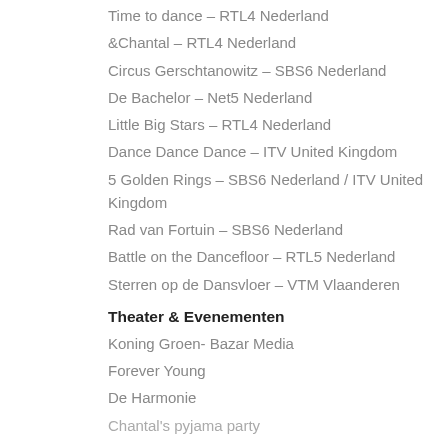Time to dance – RTL4 Nederland
&Chantal – RTL4 Nederland
Circus Gerschtanowitz – SBS6 Nederland
De Bachelor – Net5 Nederland
Little Big Stars – RTL4 Nederland
Dance Dance Dance – ITV United Kingdom
5 Golden Rings – SBS6 Nederland / ITV United Kingdom
Rad van Fortuin – SBS6 Nederland
Battle on the Dancefloor – RTL5 Nederland
Sterren op de Dansvloer – VTM Vlaanderen
Theater & Evenementen
Koning Groen- Bazar Media
Forever Young
De Harmonie
Chantal's pyjama party